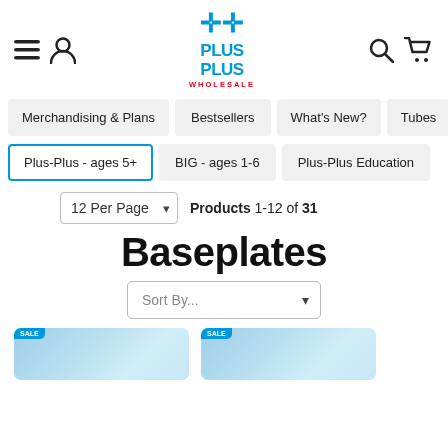Plus-Plus Wholesale — navigation header with hamburger menu, user icon, logo, search icon, cart icon
Merchandising & Plans
Bestsellers
What's New?
Tubes
Plus-Plus - ages 5+
BIG - ages 1-6
Plus-Plus Education
12 Per Page   Products 1-12 of 31
Baseplates
Sort By...